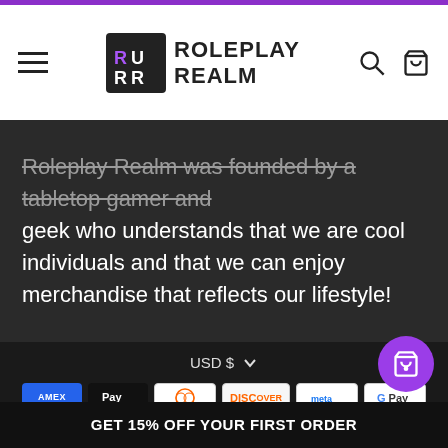Roleplay Realm — navigation header with hamburger menu, logo, search and cart icons
Roleplay Realm was founded by a tabletop gamer and geek who understands that we are cool individuals and that we can enjoy merchandise that reflects our lifestyle!
USD $
[Figure (logo): Payment method icons: American Express, Apple Pay, Diners Club, Discover, Meta Pay, Google Pay, Mastercard, PayPal, Shop Pay, Venmo, Visa]
Powered by Shopify
GET 15% OFF YOUR FIRST ORDER